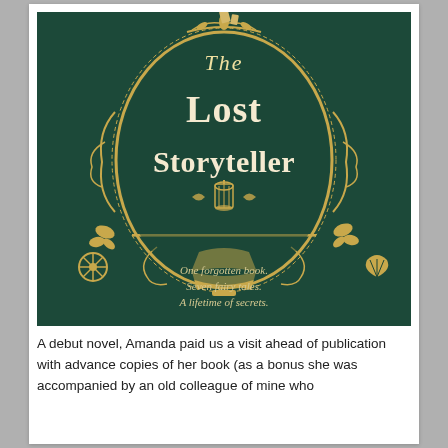[Figure (illustration): Book cover of 'The Lost Storyteller' with dark teal/green background, ornate gold decorative oval frame with scrollwork, birdcage, feathers and botanical motifs. Title text 'The Lost Storyteller' in white serif font inside oval. Tagline at bottom: 'One forgotten book. Seven fairy tales. A lifetime of secrets.']
A debut novel, Amanda paid us a visit ahead of publication with advance copies of her book (as a bonus she was accompanied by an old colleague of mine who